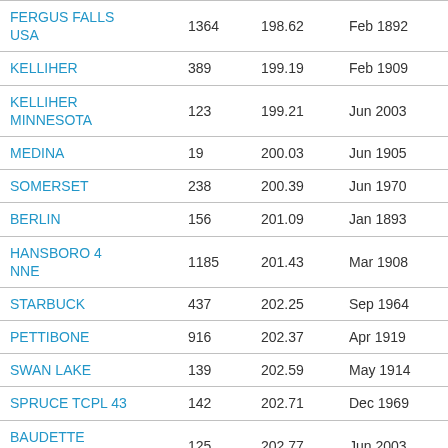| Name | Count | Value | Date | Extra |
| --- | --- | --- | --- | --- |
| FERGUS FALLS USA | 1364 | 198.62 | Feb 1892 | De… |
| KELLIHER | 389 | 199.19 | Feb 1909 | M… |
| KELLIHER MINNESOTA | 123 | 199.21 | Jun 2003 | Se… |
| MEDINA | 19 | 200.03 | Jun 1905 | Au… |
| SOMERSET | 238 | 200.39 | Jun 1970 | Au… |
| BERLIN | 156 | 201.09 | Jan 1893 | Au… |
| HANSBORO 4 NNE | 1185 | 201.43 | Mar 1908 | Ap… |
| STARBUCK | 437 | 202.25 | Sep 1964 | M… |
| PETTIBONE | 916 | 202.37 | Apr 1919 | Se… |
| SWAN LAKE | 139 | 202.59 | May 1914 | M… |
| SPRUCE TCPL 43 | 142 | 202.71 | Dec 1969 | De… |
| BAUDETTE MINNESOTA | 125 | 202.77 | Jun 2003 | O… |
| ST NORBERT | 66 | 203.49 | Aug 1970 | M… |